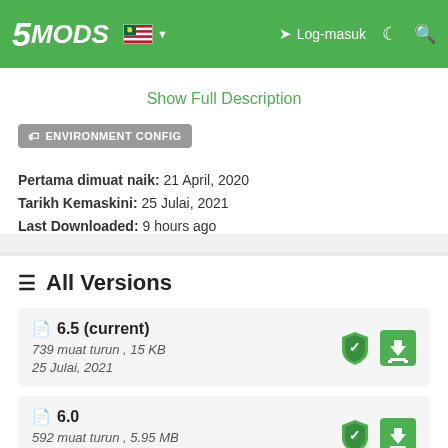5MODS | Log-masuk
Show Full Description
ENVIRONMENT CONFIG
Pertama dimuat naik: 21 April, 2020
Tarikh Kemaskini: 25 Julai, 2021
Last Downloaded: 9 hours ago
All Versions
6.5 (current)
739 muat turun , 15 KB
25 Julai, 2021
6.0
592 muat turun , 5.95 MB
19 Disember, 2020